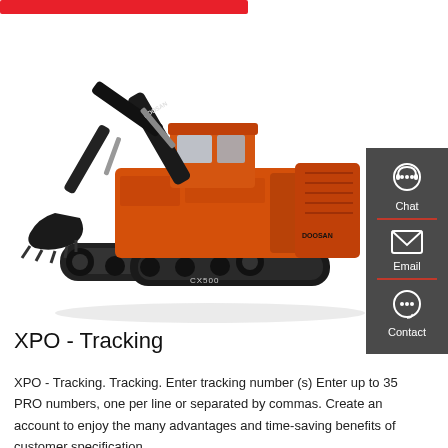[Figure (photo): Red button/banner bar at top of page]
[Figure (photo): Orange Doosan tracked excavator (model CX500 or similar) photographed on white background, facing left with arm extended]
[Figure (infographic): Dark grey sidebar with Chat, Email, and Contact icons and labels, separated by red dividers]
XPO - Tracking
XPO - Tracking. Tracking. Enter tracking number (s) Enter up to 35 PRO numbers, one per line or separated by commas. Create an account to enjoy the many advantages and time-saving benefits of customer specification.